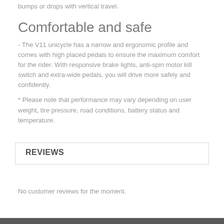bumps or drops with vertical travel.
Comfortable and safe
- The V11 unicycle has a narrow and ergonomic profile and comes with high placed pedals to ensure the maximum comfort for the rider. With responsive brake lights, anti-spin motor kill switch and extra-wide pedals, you will drive more safely and confidently.
* Please note that performance may vary depending on user weight, tire pressure, road conditions, battery status and temperature.
REVIEWS
No customer reviews for the moment.